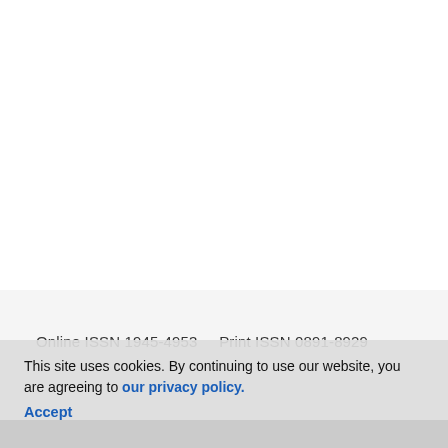Online ISSN 1945-4953    Print ISSN 0891-8929
Journals
Diabetes
Diabetes Care
Diabetes Spectrum
Standards of Medical Care in Diabetes
This site uses cookies. By continuing to use our website, you are agreeing to our privacy policy. Accept